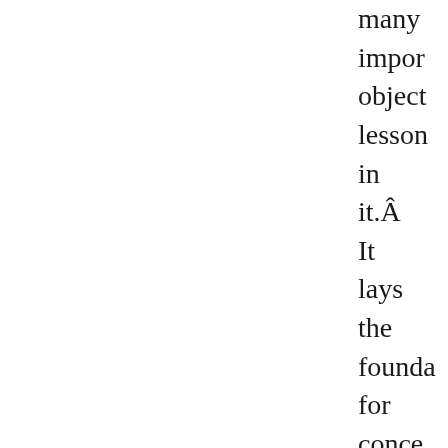many important object lessons in it.Â It lays the foundation for concepts like sacrifice, honor, faith, trust, the will of God, the nature